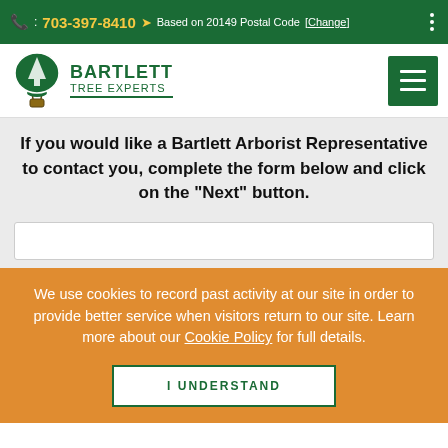: 703-397-8410  Based on 20149 Postal Code [Change]
[Figure (logo): Bartlett Tree Experts logo with green tree in hot air balloon and company name]
If you would like a Bartlett Arborist Representative to contact you, complete the form below and click on the "Next" button.
We use cookies to record past activity at our site in order to provide better service when visitors return to our site. Learn more about our Cookie Policy for full details.
I UNDERSTAND